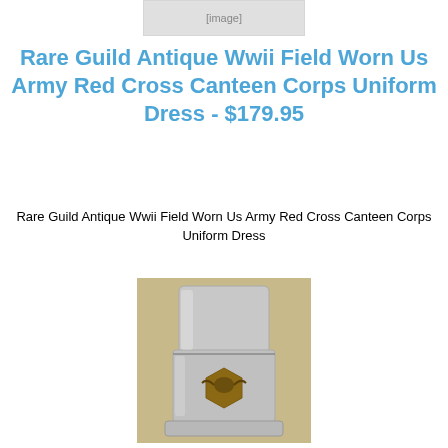[Figure (photo): Partial top portion of a product image, cropped at the top of the page]
Rare Guild Antique Wwii Field Worn Us Army Red Cross Canteen Corps Uniform Dress - $179.95
Rare Guild Antique Wwii Field Worn Us Army Red Cross Canteen Corps Uniform Dress
[Figure (photo): A silver metal lighter or canteen-like item with an engraved military shield/eagle emblem on the front, sitting on a beige surface]